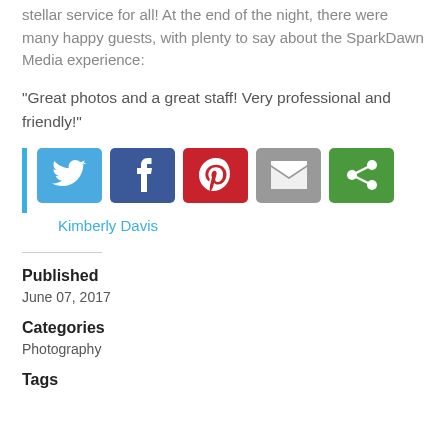stellar service for all! At the end of the night, there were many happy guests, with plenty to say about the SparkDawn Media experience:
“Great photos and a great staff! Very professional and friendly!”
[Figure (infographic): Share buttons: Twitter (blue), Facebook (dark blue), Pinterest (red), Email (gray), ShareThis (green), with a vertical blue bar on the left]
Kimberly Davis
Published
June 07, 2017
Categories
Photography
Tags